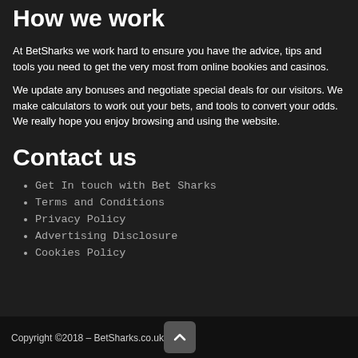How we work
At BetSharks we work hard to ensure you have the advice, tips and tools you need to get the very most from online bookies and casinos.
We update any bonuses and negotiate special deals for our visitors. We make calculators to work out your bets, and tools to convert your odds. We really hope you enjoy browsing and using the website.
Contact us
Get In touch with Bet Sharks
Terms and Conditions
Privacy Policy
Advertising Disclosure
Cookies Policy
Copyright ©2018 – BetSharks.co.uk